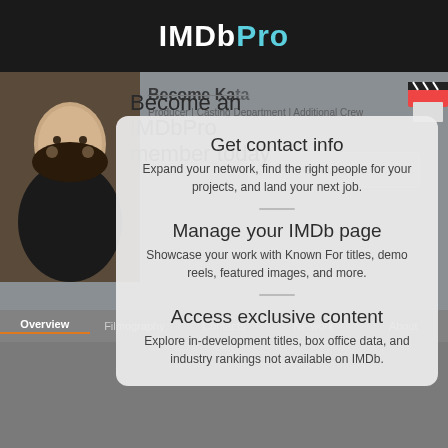[Figure (screenshot): IMDbPro website screenshot showing a profile page with a modal overlay promoting IMDbPro membership. The modal shows 'Become an IMDbPro member today' with sections: 'Get contact info', 'Manage your IMDb page', and 'Access exclusive content'.]
Become an IMDbPro member today
Get contact info
Expand your network, find the right people for your projects, and land your next job.
Manage your IMDb page
Showcase your work with Known For titles, demo reels, featured images, and more.
Access exclusive content
Explore in-development titles, box office data, and industry rankings not available on IMDb.